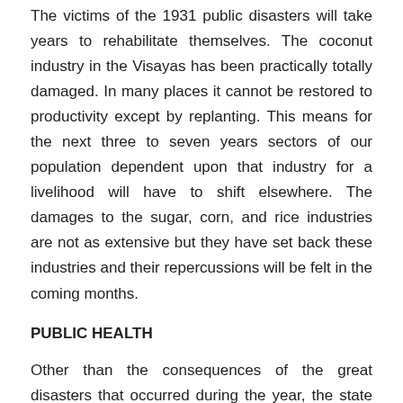The victims of the 1931 public disasters will take years to rehabilitate themselves. The coconut industry in the Visayas has been practically totally damaged. In many places it cannot be restored to productivity except by replanting. This means for the next three to seven years sectors of our population dependent upon that industry for a livelihood will have to shift elsewhere. The damages to the sugar, corn, and rice industries are not as extensive but they have set back these industries and their repercussions will be felt in the coming months.
PUBLIC HEALTH
Other than the consequences of the great disasters that occurred during the year, the state of the public health may be considered normal. No epidemic visited the country. The birth rate increased; the total crude death rate decreased